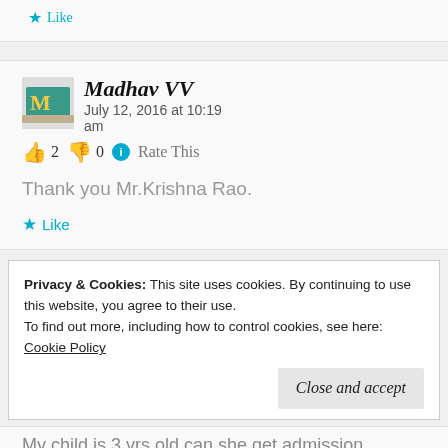★ Like
Madhav VV   July 12, 2016 at 10:19 am
👍 2 👎 0 ℹ Rate This
Thank you Mr.Krishna Rao.
★ Like
Privacy & Cookies: This site uses cookies. By continuing to use this website, you agree to their use.
To find out more, including how to control cookies, see here:
Cookie Policy
Close and accept
My child is 3 yrs old can she get admission